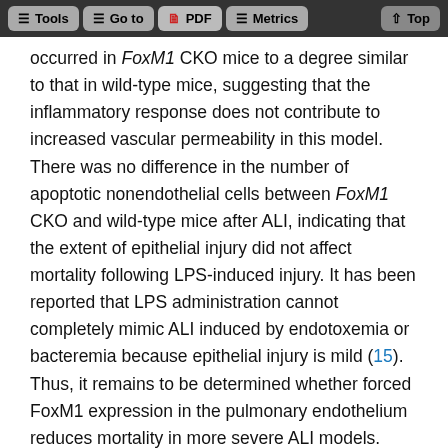Tools  Go to  PDF  Metrics  Top
occurred in FoxM1 CKO mice to a degree similar to that in wild-type mice, suggesting that the inflammatory response does not contribute to increased vascular permeability in this model. There was no difference in the number of apoptotic nonendothelial cells between FoxM1 CKO and wild-type mice after ALI, indicating that the extent of epithelial injury did not affect mortality following LPS-induced injury. It has been reported that LPS administration cannot completely mimic ALI induced by endotoxemia or bacteremia because epithelial injury is mild (15). Thus, it remains to be determined whether forced FoxM1 expression in the pulmonary endothelium reduces mortality in more severe ALI models. Restoring FoxM1 expression in the liver of aged mice was shown to improve age-associated